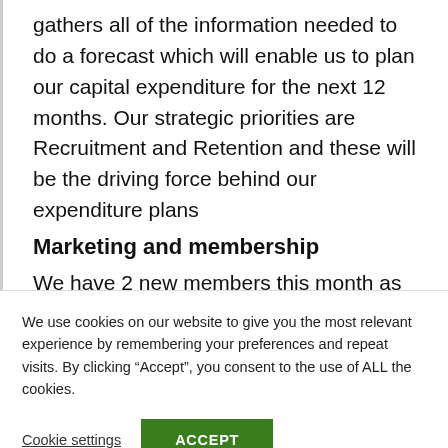gathers all of the information needed to do a forecast which will enable us to plan our capital expenditure for the next 12 months. Our strategic priorities are Recruitment and Retention and these will be the driving force behind our expenditure plans
Marketing and membership
We have 2 new members this month as blogged during the month.   The advertising list is being updated and expanded ready for the next
We use cookies on our website to give you the most relevant experience by remembering your preferences and repeat visits. By clicking “Accept”, you consent to the use of ALL the cookies.